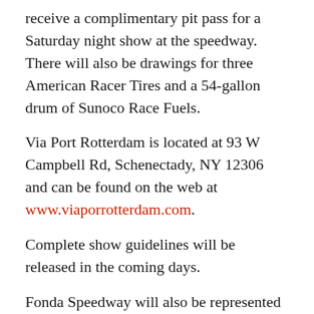receive a complimentary pit pass for a Saturday night show at the speedway. There will also be drawings for three American Racer Tires and a 54-gallon drum of Sunoco Race Fuels.
Via Port Rotterdam is located at 93 W Campbell Rd, Schenectady, NY 12306 and can be found on the web at www.viaporrotterdam.com.
Complete show guidelines will be released in the coming days.
Fonda Speedway will also be represented with a display at the Syracuse Motorsports Expo at the New York State Fairgrounds in Syracuse, N.Y., Saturday-Sunday March 14-15.
On-track action on the newly resurfaced half-mile oval gets underway on Saturday, April 11 with an Open Practice session. One week later, on April 18, the first